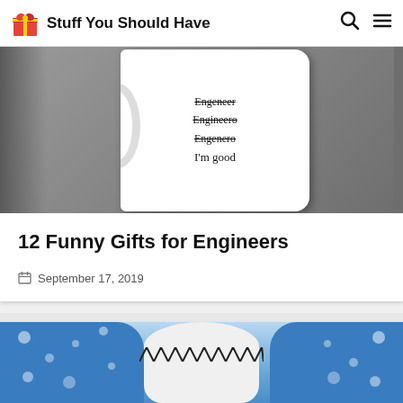Stuff You Should Have
[Figure (photo): A white ceramic mug with handwritten-style text showing crossed-out misspellings of 'Engineer' (Engeneer, Engineero, Engenero) followed by "I'm good" at the bottom, on a gray background]
12 Funny Gifts for Engineers
September 17, 2019
[Figure (photo): A blue and white polka-dot stuffed shark toy with white teeth showing, partially cropped at the bottom of the page]